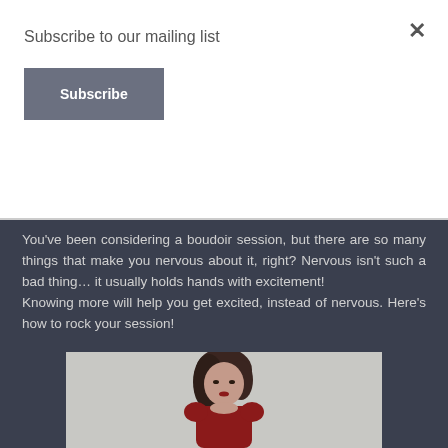Subscribe to our mailing list
Subscribe
×
You've been considering a boudoir session, but there are so many things that make you nervous about it, right? Nervous isn't such a bad thing… it usually holds hands with excitement!
Knowing more will help you get excited, instead of nervous. Here's how to rock your session!
[Figure (photo): A woman with dark hair, wearing red, photographed in a boudoir-style portrait against a light background.]